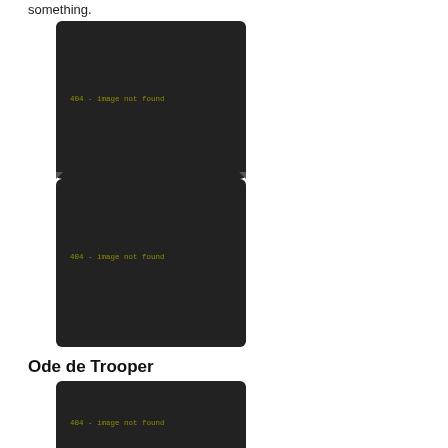something.
[Figure (photo): 404 - image not found placeholder, dark background]
[Figure (photo): 404 - image not found placeholder, dark background]
Ode de Trooper
[Figure (photo): 404 - image not found placeholder, dark background]